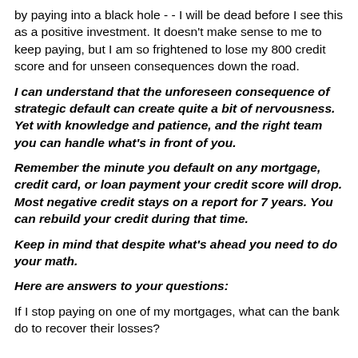by paying into a black hole - - I will be dead before I see this as a positive investment. It doesn't make sense to me to keep paying, but I am so frightened to lose my 800 credit score and for unseen consequences down the road.
I can understand that the unforeseen consequence of strategic default can create quite a bit of nervousness. Yet with knowledge and patience, and the right team you can handle what's in front of you.
Remember the minute you default on any mortgage, credit card, or loan payment your credit score will drop. Most negative credit stays on a report for 7 years. You can rebuild your credit during that time.
Keep in mind that despite what's ahead you need to do your math.
Here are answers to your questions:
If I stop paying on one of my mortgages, what can the bank do to recover their losses?